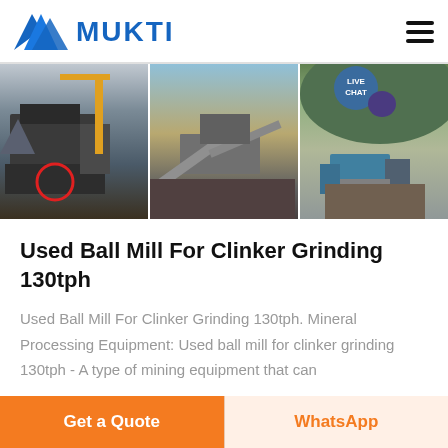MUKTI
[Figure (photo): Three side-by-side photos of mining/crushing equipment: (1) a large impact crusher with red-circled component in an industrial facility, (2) conveyor and crushing plant machinery on an open site, (3) a mobile crushing/screening plant in a hillside quarry.]
Used Ball Mill For Clinker Grinding 130tph
Used Ball Mill For Clinker Grinding 130tph. Mineral Processing Equipment: Used ball mill for clinker grinding 130tph - A type of mining equipment that can...